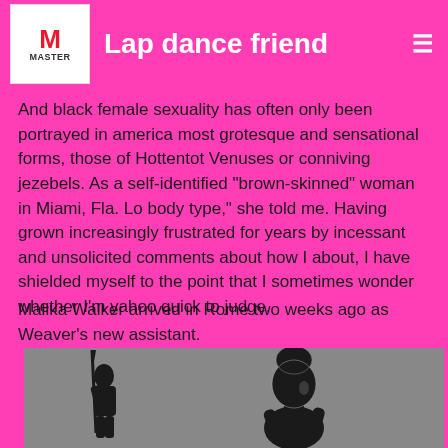Lap dance friend
And black female sexuality has often only been portrayed in america most grotesque and sensational forms, those of Hottentot Venuses or conniving jezebels. As a self-identified "brown-skinned" woman in Miami, Fla. Lo body type," she told me. Having grown increasingly frustrated for years by incessant and unsolicited comments about how I about, I have shielded myself to the point that I sometimes wonder whether I'm yahoo quick to judge.
Malika Walker arrived in Rome two weeks ago as Weaver's new assistant.
[Figure (illustration): Silhouette illustration of two figures against a gray background. One figure on the left holds a spear or staff, another larger figure is on the right with a distinctive headdress or bun hairstyle.]